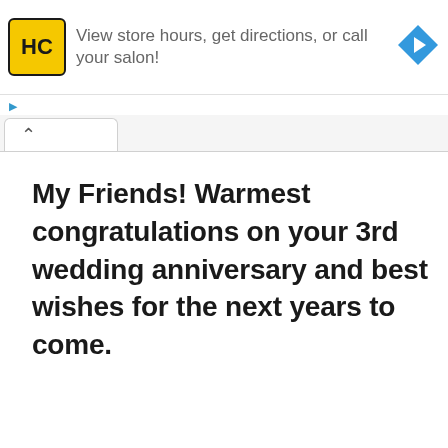[Figure (screenshot): Advertisement banner for a hair salon (HC logo in yellow square) with text 'View store hours, get directions, or call your salon!' and a blue navigation arrow icon on the right]
My Friends! Warmest congratulations on your 3rd wedding anniversary and best wishes for the next years to come.